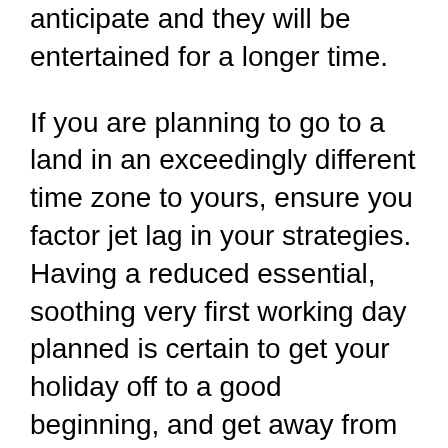anticipate and they will be entertained for a longer time.
If you are planning to go to a land in an exceedingly different time zone to yours, ensure you factor jet lag in your strategies. Having a reduced essential, soothing very first working day planned is certain to get your holiday off to a good beginning, and get away from you needing to investigate when all you want to do is sleeping.
Setting up a financial budget for a variety of expenses just before touring will assist a single not overspend during vacation. Having a spending budget currently organized can keep another aware of their spending. The increased interest on not spending too much